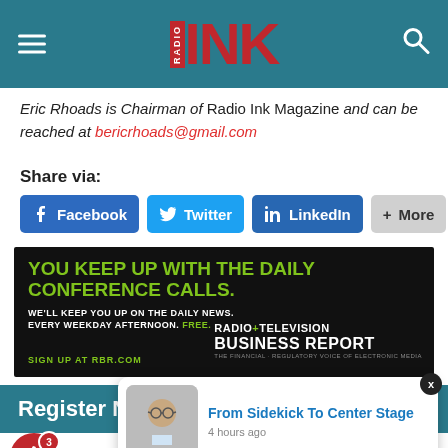Radio Ink Magazine
Eric Rhoads is Chairman of Radio Ink Magazine and can be reached at bericrhoads@gmail.com
Share via:
[Figure (screenshot): Social share buttons: Facebook, Twitter, LinkedIn, More]
[Figure (other): Radio + Television Business Report advertisement: YOU KEEP UP WITH THE DAILY CONFERENCE CALLS. WE'LL KEEP YOU UP ON THE DAILY NEWS. EVERY WEEKDAY AFTERNOON. FREE. SIGN UP AT RBR.COM]
[Figure (screenshot): Notification popup: From Sidekick To Center Stage, 4 hours ago. Bell icon with badge showing 3.]
Register NO
SELL MORE!